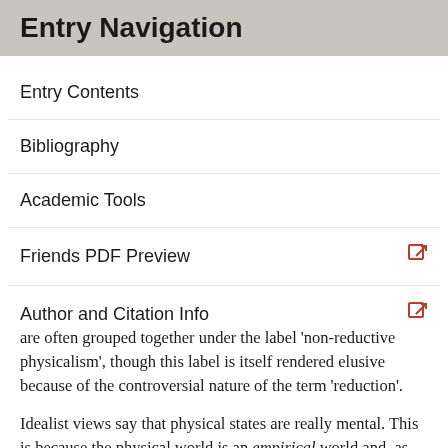Entry Navigation
Entry Contents
Bibliography
Academic Tools
Friends PDF Preview
Author and Citation Info
are often grouped together under the label 'non-reductive physicalism', though this label is itself rendered elusive because of the controversial nature of the term 'reduction'.
Idealist views say that physical states are really mental. This is because the physical world is an empirical world and, as such, it is the intersubjective product of our collective experience.
Dualist views (the subject of this entry) say that the mental and the physical are both real and neither can be assimilated to the other. For the various forms that